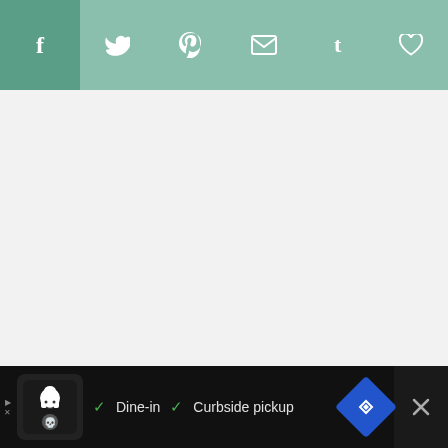[Figure (screenshot): Social sharing toolbar with teal/sage green background containing social media icons: Facebook (f), Twitter bird, Pinterest (P), Email envelope, Tumblr (t), and heart/save icon]
[Figure (screenshot): Large blank/white content area below the social bar, representing the main page body]
[Figure (screenshot): Accessibility widget icon showing a person/wheelchair symbol in a dark blue circle with a blue refresh/arrow overlay]
83
[Figure (screenshot): Share button (circular with share/connected nodes icon)]
[Figure (screenshot): WHAT'S NEXT panel showing thumbnail of Garden Creek Falls and text 'Garden Creek Falls, Caspe...']
[Figure (screenshot): Ad banner at bottom showing restaurant with chef icon, Dine-in and Curbside pickup options, navigation icon, and close X button]